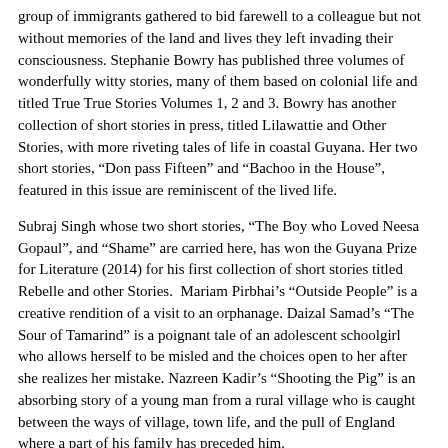group of immigrants gathered to bid farewell to a colleague but not without memories of the land and lives they left invading their consciousness. Stephanie Bowry has published three volumes of wonderfully witty stories, many of them based on colonial life and titled True True Stories Volumes 1, 2 and 3. Bowry has another collection of short stories in press, titled Lilawattie and Other Stories, with more riveting tales of life in coastal Guyana. Her two short stories, “Don pass Fifteen” and “Bachoo in the House”, featured in this issue are reminiscent of the lived life.
Subraj Singh whose two short stories, “The Boy who Loved Neesa Gopaul”, and “Shame” are carried here, has won the Guyana Prize for Literature (2014) for his first collection of short stories titled Rebelle and other Stories. Mariam Pirbhai’s “Outside People” is a creative rendition of a visit to an orphanage. Daizal Samad’s “The Sour of Tamarind” is a poignant tale of an adolescent schoolgirl who allows herself to be misled and the choices open to her after she realizes her mistake. Nazreen Kadir’s “Shooting the Pig” is an absorbing story of a young man from a rural village who is caught between the ways of village, town life, and the pull of England where a part of his family has preceded him.
Valerie Coddett states, “Living with the Masters is a story that takes place in the world of art and reflects the interaction between me and works of art I have encountered. The paintings and I have been living in overcrowded rooms for many years”. Coddett offers